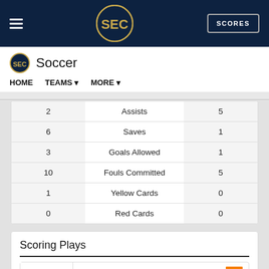SEC Soccer — HOME  TEAMS  MORE
|  | Stat |  |
| --- | --- | --- |
| 2 | Assists | 5 |
| 6 | Saves | 1 |
| 3 | Goals Allowed | 1 |
| 10 | Fouls Committed | 5 |
| 1 | Yellow Cards | 0 |
| 0 | Red Cards | 0 |
Scoring Plays
1ST HALF